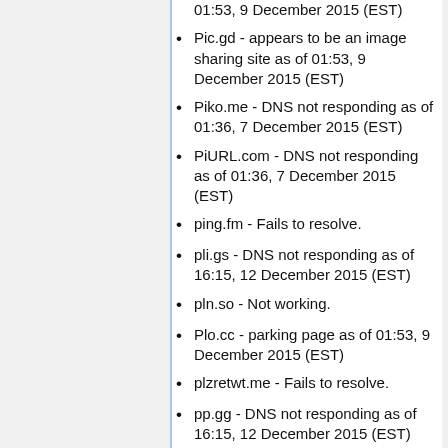01:53, 9 December 2015 (EST)
Pic.gd - appears to be an image sharing site as of 01:53, 9 December 2015 (EST)
Piko.me - DNS not responding as of 01:36, 7 December 2015 (EST)
PiURL.com - DNS not responding as of 01:36, 7 December 2015 (EST)
ping.fm - Fails to resolve.
pli.gs - DNS not responding as of 16:15, 12 December 2015 (EST)
pln.so - Not working.
Plo.cc - parking page as of 01:53, 9 December 2015 (EST)
plzretwt.me - Fails to resolve.
pp.gg - DNS not responding as of 16:15, 12 December 2015 (EST)
pt2.me - default server page as of 02:09, 9 December 2015 (EST)
pulsene.ws - Expired, Parked by